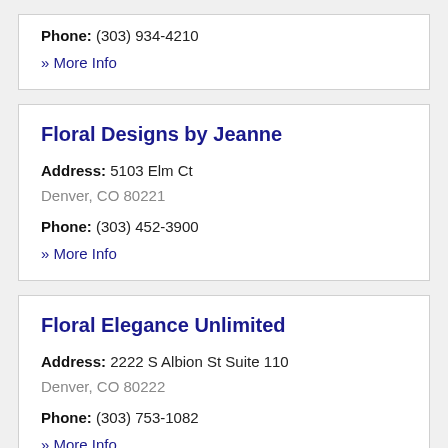Phone: (303) 934-4210
» More Info
Floral Designs by Jeanne
Address: 5103 Elm Ct
Denver, CO 80221
Phone: (303) 452-3900
» More Info
Floral Elegance Unlimited
Address: 2222 S Albion St Suite 110
Denver, CO 80222
Phone: (303) 753-1082
» More Info